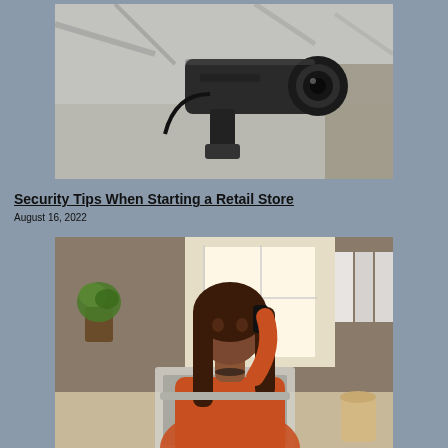[Figure (photo): Close-up black and white photo of a security surveillance camera mounted on a pole or wall, with blurred background of trees/branches]
Security Tips When Starting a Retail Store
August 16, 2022
[Figure (photo): Color photo of a Black woman with long hair wearing an orange blazer, sitting at a desk with a laptop, talking on a mobile phone; bright window behind her, plant and binders visible in background, coffee cup on desk]